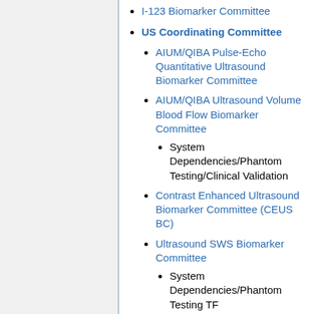I-123 Biomarker Committee
US Coordinating Committee
AIUM/QIBA Pulse-Echo Quantitative Ultrasound Biomarker Committee
AIUM/QIBA Ultrasound Volume Blood Flow Biomarker Committee
System Dependencies/Phantom Testing/Clinical Validation
Contrast Enhanced Ultrasound Biomarker Committee (CEUS BC)
Ultrasound SWS Biomarker Committee
System Dependencies/Phantom Testing TF